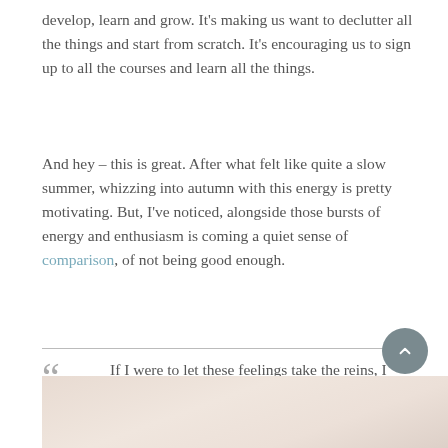develop, learn and grow. It's making us want to declutter all the things and start from scratch. It's encouraging us to sign up to all the courses and learn all the things.
And hey – this is great. After what felt like quite a slow summer, whizzing into autumn with this energy is pretty motivating. But, I've noticed, alongside those bursts of energy and enthusiasm is coming a quiet sense of comparison, of not being good enough.
If I were to let these feelings take the reins, I would harness this energy in a negative way.
[Figure (photo): Soft beige/pink fabric or textile texture, bottom portion of the page]